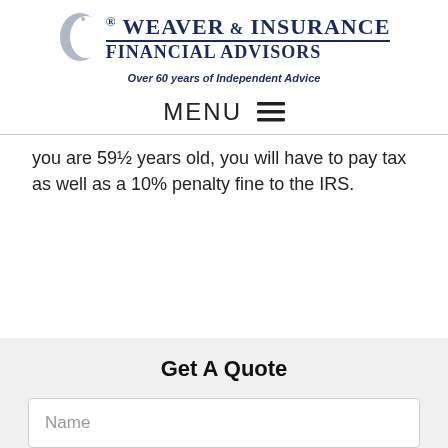[Figure (logo): Weaver & Insurance Financial Advisors logo with crescent moon icon and tagline 'Over 60 years of Independent Advice']
MENU ☰
you are 59½ years old, you will have to pay tax as well as a 10% penalty fine to the IRS.
Get A Quote
Name